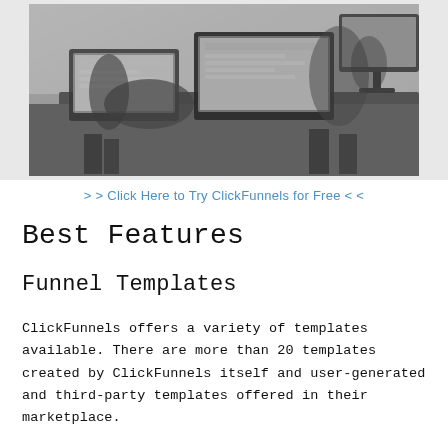[Figure (photo): Black and white photo of people working at a desk with laptops and a monitor in an office setting]
> > Click Here to Try ClickFunnels for Free < <
Best Features
Funnel Templates
ClickFunnels offers a variety of templates available. There are more than 20 templates created by ClickFunnels itself and user-generated and third-party templates offered in their marketplace.